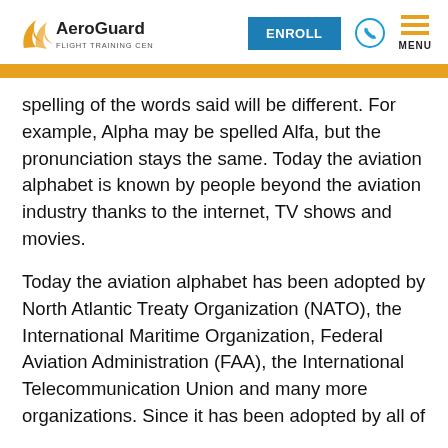AeroGuard Flight Training Center — ENROLL MENU
spelling of the words said will be different. For example, Alpha may be spelled Alfa, but the pronunciation stays the same. Today the aviation alphabet is known by people beyond the aviation industry thanks to the internet, TV shows and movies.
Today the aviation alphabet has been adopted by North Atlantic Treaty Organization (NATO), the International Maritime Organization, Federal Aviation Administration (FAA), the International Telecommunication Union and many more organizations. Since it has been adopted by all of